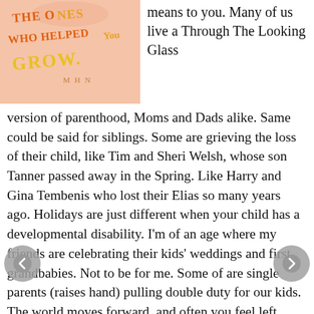[Figure (illustration): Book cover with peach/salmon background showing handwritten text: 'THE ONES WHO HELPED YOU GROW.' with 'MHN' signature, text in orange and yellow colors]
means to you. Many of us live a Through The Looking Glass version of parenthood, Moms and Dads alike. Same could be said for siblings. Some are grieving the loss of their child, like Tim and Sheri Welsh, whose son Tanner passed away in the Spring. Like Harry and Gina Tembenis who lost their Elias so many years ago. Holidays are just different when your child has a developmental disability. I'm of an age where my friends are celebrating their kids' weddings and first grandbabies. Not to be for me. Some of are single parents (raises hand) pulling double duty for our kids. The world moves forward, and often you feel left behind. Left out...